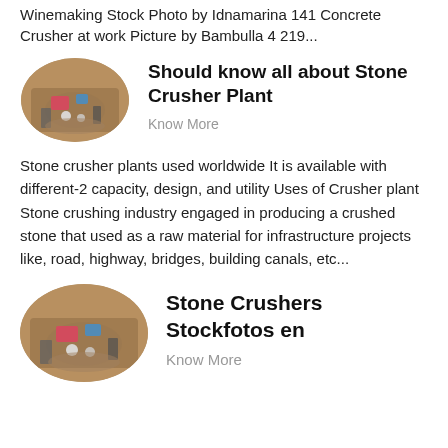Winemaking Stock Photo by Idnamarina 141 Concrete Crusher at work Picture by Bambulla 4 219...
[Figure (photo): Oval-shaped photo of stone crusher machinery with debris and equipment on ground]
Should know all about Stone Crusher Plant
Know More
Stone crusher plants used worldwide It is available with different-2 capacity, design, and utility Uses of Crusher plant Stone crushing industry engaged in producing a crushed stone that used as a raw material for infrastructure projects like, road, highway, bridges, building canals, etc...
[Figure (photo): Oval-shaped photo of stone crusher machinery with debris and equipment on ground]
Stone Crushers Stockfotos en
Know More